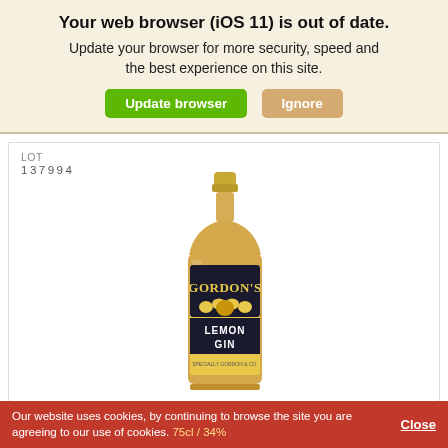Your web browser (iOS 11) is out of date. Update your browser for more security, speed and the best experience on this site.
Update browser | Ignore
LOT
137994
[Figure (photo): A bottle of Gordon's Lemon Gin with spring cap, 75cl / 34%, amber-colored liquid, gold and black label]
Gordon's Lemon Gin Spring Cap
75cl / 34%
Our website uses cookies, by continuing to browse the site you are agreeing to our use of cookies.
Close